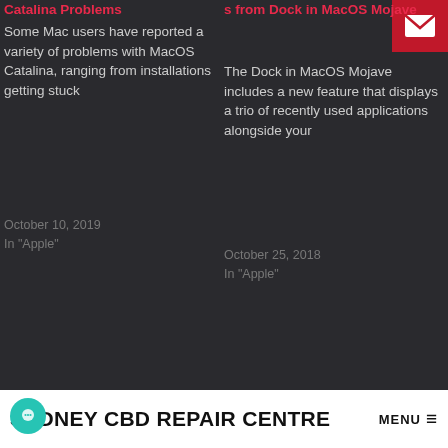Catalina Problems
Some Mac users have reported a variety of problems with MacOS Catalina, ranging from installations getting stuck
October 10, 2019
In "Apple"
[Figure (screenshot): Red envelope/email icon on crimson background in top right]
s from Dock in MacOS Mojave
The Dock in MacOS Mojave includes a new feature that displays a trio of recently used applications alongside your
October 25, 2018
In "Apple"
[Figure (screenshot): iOS 15.6 beta icon on light gray background with chat bubble icon overlay]
❤ Apple releases first iOS 15.6 and macOS 12.5 public beta for testing
May 21, 2022
SYDNEY CBD REPAIR CENTRE  MENU ≡